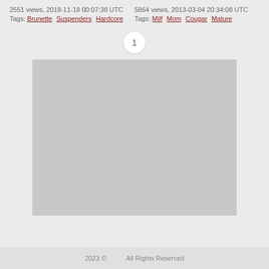2551 views, 2018-11-18 00:07:38 UTC
Tags: Brunette Suspenders Hardcore
5864 views, 2013-03-04 20:34:08 UTC
Tags: Milf Mom Cougar Mature
1
[Figure (other): Grey placeholder advertisement or image block]
2023 © ... All Rights Reserved